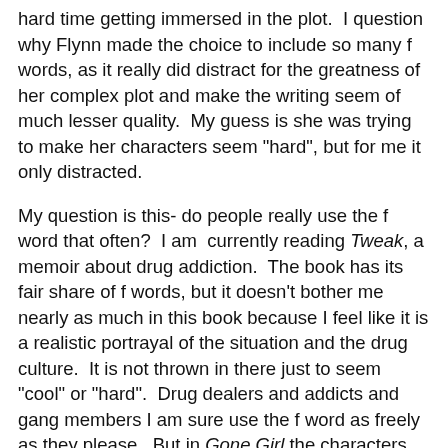hard time getting immersed in the plot.  I question why Flynn made the choice to include so many f words, as it really did distract for the greatness of her complex plot and make the writing seem of much lesser quality.  My guess is she was trying to make her characters seem "hard", but for me it only distracted.
My question is this- do people really use the f word that often?  I am  currently reading Tweak, a memoir about drug addiction.  The book has its fair share of f words, but it doesn't bother me nearly as much in this book because I feel like it is a realistic portrayal of the situation and the drug culture.  It is not thrown in there just to seem "cool" or "hard".  Drug dealers and addicts and gang members I am sure use the f word as freely as they please.  But in Gone Girl the characters are none of those things.  They are society contributing, responsible, educated adults.  I get that people who are raised on the streets and uneducated are going to use the f word like it's nobody's business.  But educated people?  Lawyers and writers and your good old average joe on the street?  I live in a conservative community and I come from a conservative state, so this one honestly just confuses